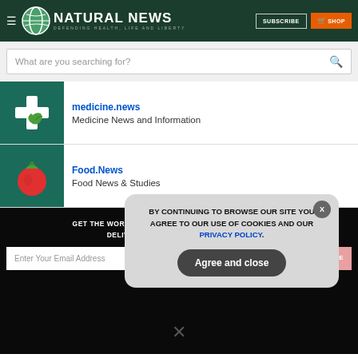Natural News — DEFENDING HEALTH, LIFE AND LIBERTY | SUBSCRIBE | SHOP
What are you searching for?
medicine.news — Medicine News and Information
Food.News — Food News & Studies
GET THE WORLD'S BEST NATURAL HEALTH NEWSLETTER DELIVERED STRAIGHT TO YOUR INBOX
BY CONTINUING TO BROWSE OUR SITE YOU AGREE TO OUR USE OF COOKIES AND OUR PRIVACY POLICY.
Agree and close